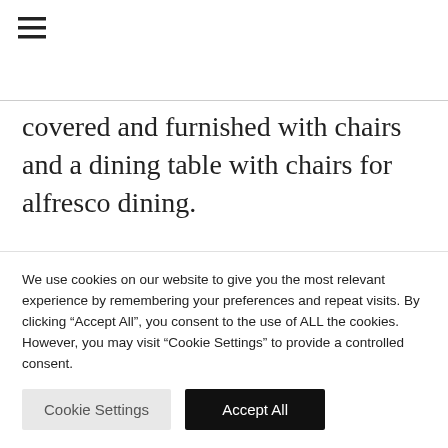[Figure (other): Hamburger menu icon (three horizontal lines)]
covered and furnished with chairs and a dining table with chairs for alfresco dining.
Outside in its lush gardens, there are numerous areas for quiet contemplation, relaxation, and basking in the sun. The pool
We use cookies on our website to give you the most relevant experience by remembering your preferences and repeat visits. By clicking “Accept All”, you consent to the use of ALL the cookies. However, you may visit “Cookie Settings” to provide a controlled consent.
Cookie Settings
Accept All